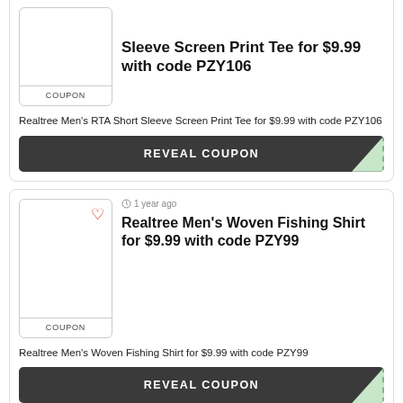[Figure (screenshot): Coupon thumbnail box with COUPON label, no heart icon, for first card]
Sleeve Screen Print Tee for $9.99 with code PZY106
Realtree Men's RTA Short Sleeve Screen Print Tee for $9.99 with code PZY106
REVEAL COUPON
[Figure (screenshot): Coupon thumbnail box with heart icon and COUPON label, for second card]
1 year ago
Realtree Men's Woven Fishing Shirt for $9.99 with code PZY99
Realtree Men's Woven Fishing Shirt for $9.99 with code PZY99
REVEAL COUPON